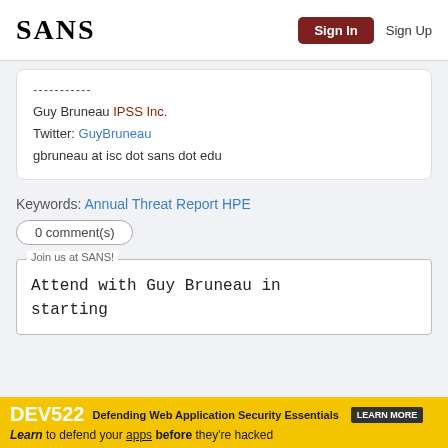SANS | Sign In | Sign Up
----------- Guy Bruneau IPSS Inc. Twitter: GuyBruneau gbruneau at isc dot sans dot edu
Keywords: Annual Threat Report HPE
0 comment(s)
Join us at SANS! Attend with Guy Bruneau in starting
[Figure (infographic): DEV522 Defending Web Application Security Essentials banner ad. Learn to defend your apps before they're hacked. LEARN MORE button.]